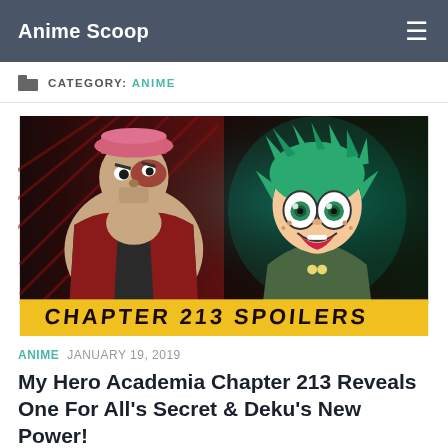Anime Scoop
CATEGORY: ANIME
[Figure (illustration): My Hero Academia manga artwork showing two characters: a muscular villain on the left with red accents and a pink hat, and Deku (Izuku Midoriya) on the right with green spiky hair and wide eyes, smiling. A yellow banner at the bottom reads 'CHAPTER 213 SPOILERS']
ANIME  JANUARY 19, 2019
My Hero Academia Chapter 213 Reveals One For All's Secret & Deku's New Power!
My Hero Academia chapter 213 looks really cool this time!